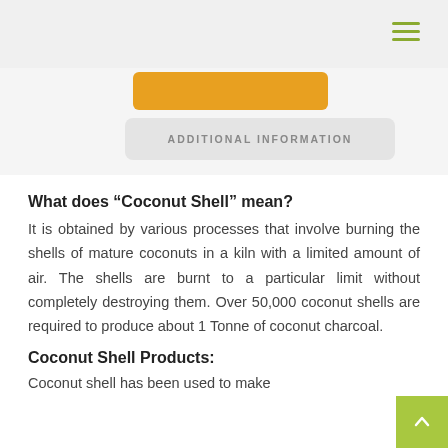ADDITIONAL INFORMATION
What does “Coconut Shell” mean?
It is obtained by various processes that involve burning the shells of mature coconuts in a kiln with a limited amount of air. The shells are burnt to a particular limit without completely destroying them. Over 50,000 coconut shells are required to produce about 1 Tonne of coconut charcoal.
Coconut Shell Products:
Coconut shell has been used to make